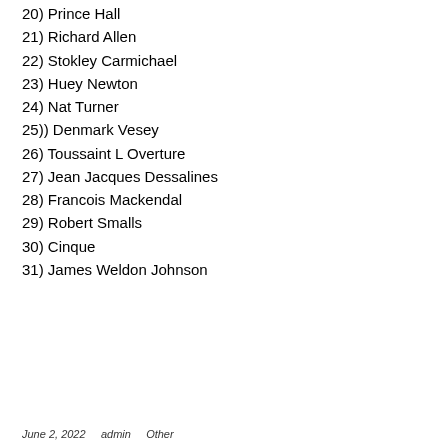20) Prince Hall
21) Richard Allen
22) Stokley Carmichael
23) Huey Newton
24) Nat Turner
25)) Denmark Vesey
26) Toussaint L Overture
27) Jean Jacques Dessalines
28) Francois Mackendal
29) Robert Smalls
30) Cinque
31) James Weldon Johnson
June 2, 2022    admin    Other